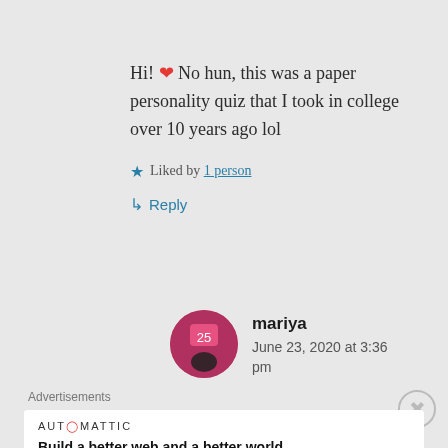Hi! ❤ No hun, this was a paper personality quiz that I took in college over 10 years ago lol
★ Liked by 1 person
↳ Reply
mariya
June 23, 2020 at 3:36 pm
Advertisements
AUTOMATTIC
Build a better web and a better world.